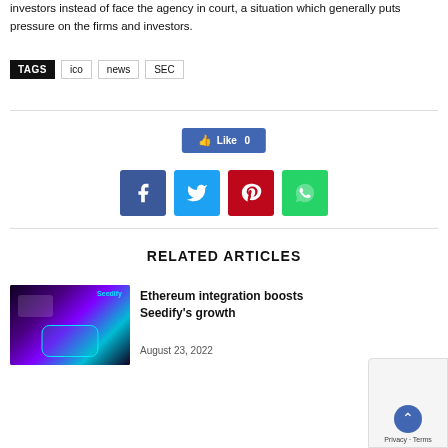investors instead of face the agency in court, a situation which generally puts pressure on the firms and investors.
TAGS   ico   news   SEC
[Figure (screenshot): Facebook Like button showing 0 likes, and social share buttons for Facebook, Twitter, Pinterest, and WhatsApp]
RELATED ARTICLES
[Figure (photo): Seedify app screenshot showing purple and teal gradient with mobile app interface]
Ethereum integration boosts Seedify's growth
August 23, 2022